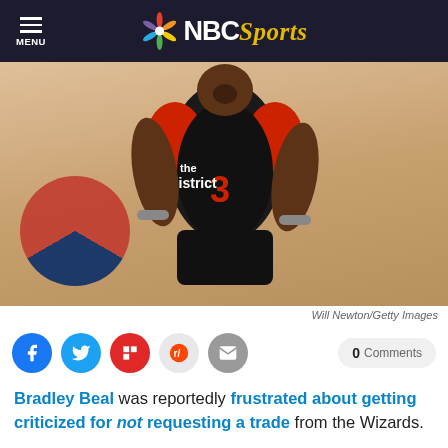NBC Sports
[Figure (photo): Bradley Beal wearing Washington Wizards jersey number 3 ('The District') running on a basketball court, photographed by Will Newton/Getty Images]
Will Newton/Getty Images
0 Comments
Bradley Beal was reportedly frustrated about getting criticized for not requesting a trade from the Wizards.

Well, his loyalty to Washington looks a little better now.